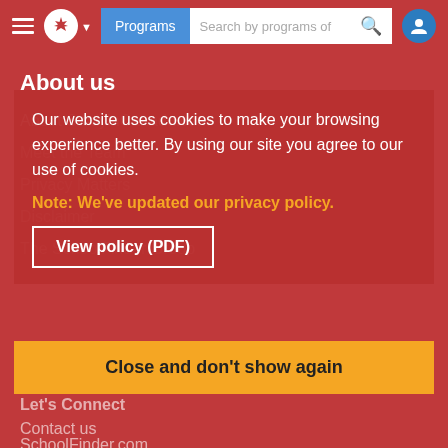Programs | Search by programs of
About us
About StudyinCanada.com
Meet the Team
Privacy Matters (partially obscured)
Disclaimer (partially obscured)
The SchoolFinder Group
SchoolFinder.com
StudentsReview.com (partially obscured)
SchoolFinderGroup.com
Let's Connect
Contact us
Our website uses cookies to make your browsing experience better. By using our site you agree to our use of cookies.
Note: We've updated our privacy policy.
View policy (PDF)
Close and don't show again